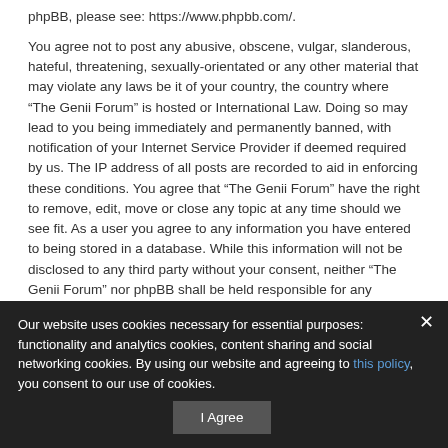phpBB, please see: https://www.phpbb.com/.
You agree not to post any abusive, obscene, vulgar, slanderous, hateful, threatening, sexually-orientated or any other material that may violate any laws be it of your country, the country where “The Genii Forum” is hosted or International Law. Doing so may lead to you being immediately and permanently banned, with notification of your Internet Service Provider if deemed required by us. The IP address of all posts are recorded to aid in enforcing these conditions. You agree that “The Genii Forum” have the right to remove, edit, move or close any topic at any time should we see fit. As a user you agree to any information you have entered to being stored in a database. While this information will not be disclosed to any third party without your consent, neither “The Genii Forum” nor phpBB shall be held responsible for any hacking attempt that may lead to the data being compromised.
I agree to these terms | I do not agree to these terms
Our website uses cookies necessary for essential purposes: functionality and analytics cookies, content sharing and social networking cookies. By using our website and agreeing to this policy, you consent to our use of cookies.
I Agree